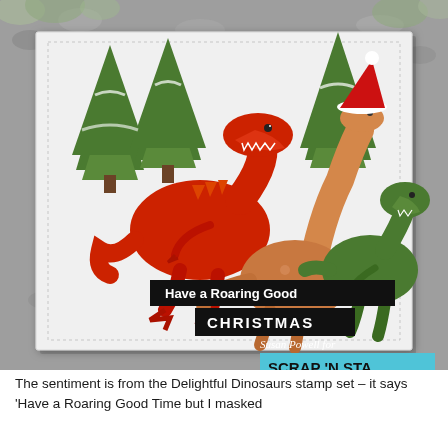[Figure (photo): A crafted Christmas card featuring three cartoon dinosaurs (red T-rex, orange/tan sauropod, green raptor) in front of green Christmas trees on a white card. The red dinosaur wears a Santa hat. Two black banners read 'Have a Roaring Good' and 'CHRISTMAS'. A handwritten credit reads 'Susan Powell for SCRAP N STA'. The card is photographed on a grey stone background.]
The sentiment is from the Delightful Dinosaurs stamp set – it says 'Have a Roaring Good Time but I masked